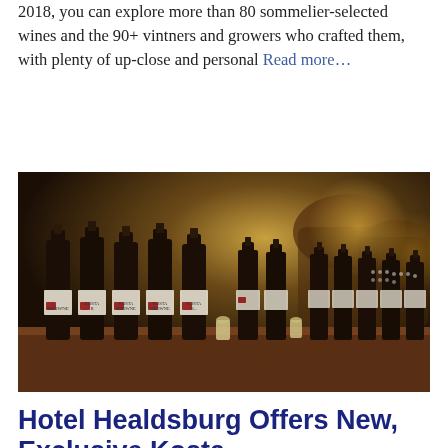2018, you can explore more than 80 sommelier-selected wines and the 90+ vintners and growers who crafted them, with plenty of up-close and personal Read more…
[Figure (photo): Rows of dark wine bottles with red labels (Kosta Browne winery) lined up on a wooden table in a dimly lit wine cellar with barrels visible in the background and small candles between bottles.]
Hotel Healdsburg Offers New, Exclusive Kosta